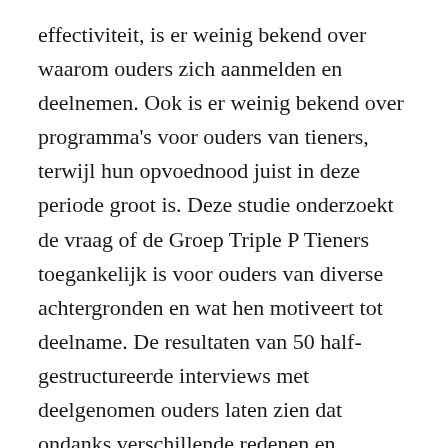effectiviteit, is er weinig bekend over waarom ouders zich aanmelden en deelnemen. Ook is er weinig bekend over programma's voor ouders van tieners, terwijl hun opvoednood juist in deze periode groot is. Deze studie onderzoekt de vraag of de Groep Triple P Tieners toegankelijk is voor ouders van diverse achtergronden en wat hen motiveert tot deelname. De resultaten van 50 half-gestructureerde interviews met deelgenomen ouders laten zien dat ondanks verschillende redenen en manieren van aanmelding (op eigen initiatief of verwezen door een professional), ouders van diverse achtergronden de bijeenkomsten en de cursusleiding waarderen. Maar ook zijn ze het erover eens dat de groepssamenstelling onevenwichtig kan zijn vanwege verschil in leeftijd van tieners en